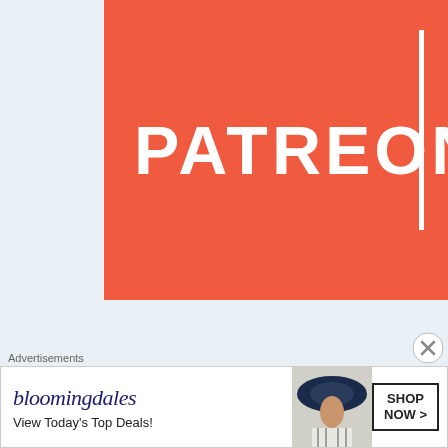[Figure (logo): Patreon logo banner — coral/orange-red background with large white bold text 'PATREON' and a white vertical dividing line on the right side]
[Figure (other): Buy Me a Coffee button — teal rounded rectangle with coffee cup icon and white text 'Buy Me a Coffee']
LIKE FILM MUSIC CENTRAL ON FACEBOOK!
[Figure (other): Close/dismiss button — circle with X symbol]
Advertisements
[Figure (other): Bloomingdale's advertisement banner — white background with Bloomingdale's logo in navy italic script, text 'View Today's Top Deals!', a woman in a navy floppy hat, and a 'SHOP NOW >' button]